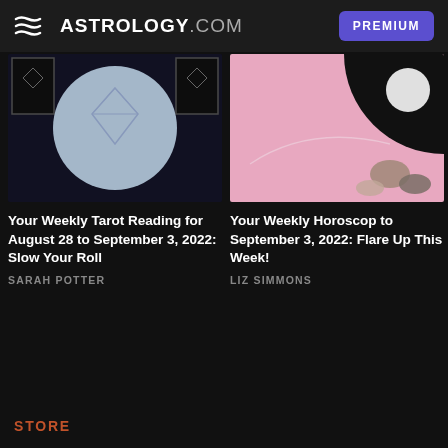ASTROLOGY.COM PREMIUM
[Figure (screenshot): Tarot card illustration with blue circle and geometric diamond shape on dark background, with two dark card corners]
Your Weekly Tarot Reading for August 28 to September 3, 2022: Slow Your Roll
SARAH POTTER
[Figure (screenshot): Horoscope image with pink background, dark circular element top-right, white moon sphere, and colorful stones/crystals]
Your Weekly Horoscop to September 3, 2022: Flare Up This Week!
LIZ SIMMONS
STORE